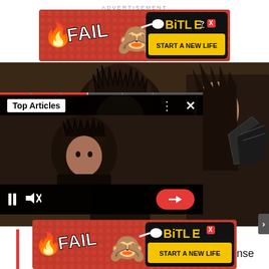ADVERTISEMENT
[Figure (screenshot): BitLife mobile game advertisement banner with FAIL text, anime-style girl emoji, fire emoji, and BitLife logo with START A NEW LIFE button on red dotted background]
[Figure (screenshot): Video game screenshot showing two dark-haired characters in fantasy armor, one facing front, one in profile, with dark moody background. Overlaid mini video player with Top Articles label, play controls, mute button, and red arrow forward button on black background. Red progress bar at top.]
gement combat
tles both tense
k13 implemented
a crafting feature which allows players to craft,
upgra
bluep
play
[Figure (screenshot): BitLife mobile game advertisement banner at bottom, same as top banner with FAIL text, anime girl, fire, BitLife logo and START A NEW LIFE button]